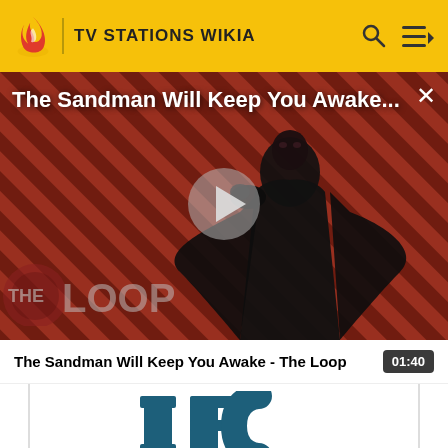TV STATIONS WIKIA
[Figure (screenshot): Video player showing 'The Sandman Will Keep You Awake...' with a figure in black holding a raven, diagonal red/black stripe background, play button overlay, 'THE LOOP' watermark at bottom left]
The Sandman Will Keep You Awake - The Loop
01:40
[Figure (logo): Partial IFC logo in dark teal/blue shown at bottom center of page]